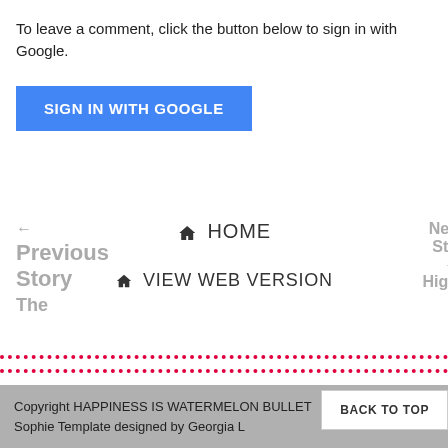To leave a comment, click the button below to sign in with Google.
SIGN IN WITH GOOGLE
HOME
← Previous Story The
VIEW WEB VERSION
Nex Sto → High
Copyright HAPPINESS IS WATERMELON BULLET Sophie Template designed by Georgia L
BACK TO TOP